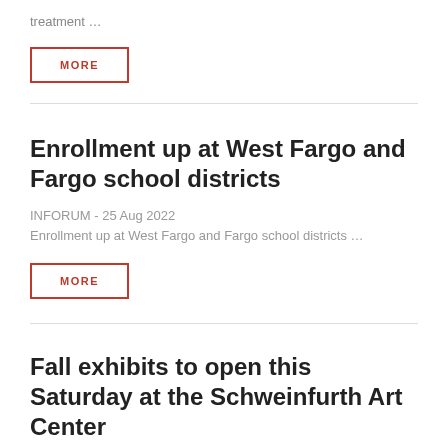treatment …
[Figure (other): MORE button with red border]
Enrollment up at West Fargo and Fargo school districts
INFORUM - 25 Aug 2022
Enrollment up at West Fargo and Fargo school districts …
[Figure (other): MORE button with red border]
Fall exhibits to open this Saturday at the Schweinfurth Art Center